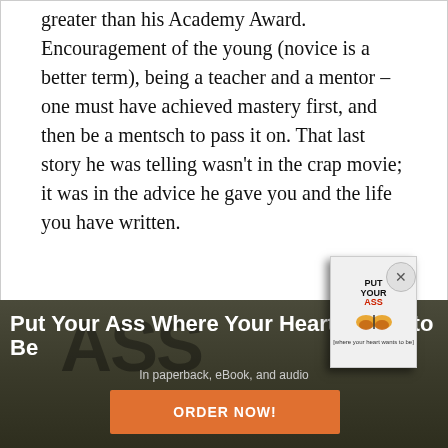greater than his Academy Award. Encouragement of the young (novice is a better term), being a teacher and a mentor – one must have achieved mastery first, and then be a mentsch to pass it on. That last story he was telling wasn't in the crap movie; it was in the advice he gave you and the life you have written.
Reply
[Figure (illustration): Advertisement overlay showing book cover for 'Put Your Ass Where Your Heart Wants to Be' with butterfly graphic, close button, dark background with large text, subtitle 'In paperback, eBook, and audio', and orange ORDER NOW! button]